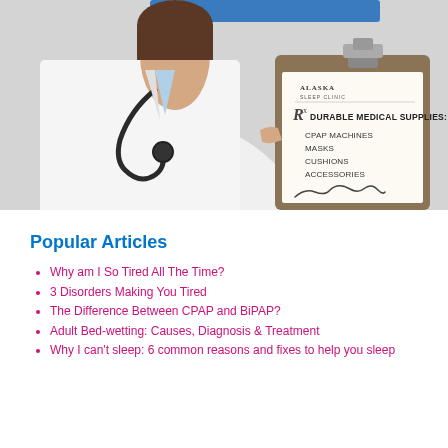[Figure (photo): A doctor in a white coat with a stethoscope holding a clipboard. The clipboard shows the Alaska Sleep Clinic logo and a prescription for Durable Medical Supplies listing: CPAP Machines, Masks, Cushions, Accessories, with a doctor's signature.]
Popular Articles
Why am I So Tired All The Time?
3 Disorders Making You Tired
The Difference Between CPAP and BiPAP?
Adult Bed-wetting: Causes, Diagnosis & Treatment
Why I can't sleep: 6 common reasons and fixes to help you sleep